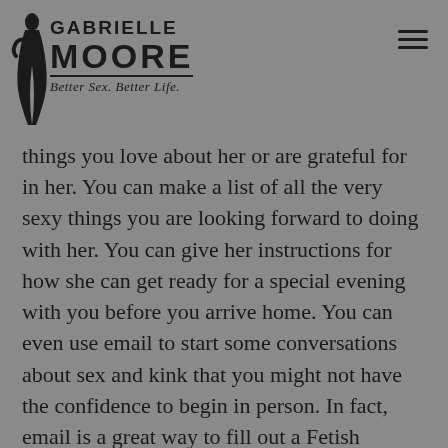GABRIELLE MOORE — Better Sex. Better Life.
things you love about her or are grateful for in her. You can make a list of all the very sexy things you are looking forward to doing with her. You can give her instructions for how she can get ready for a special evening with you before you arrive home. You can even use email to start some conversations about sex and kink that you might not have the confidence to begin in person. In fact, email is a great way to fill out a Fetish Checklist together! Why not get started today?
Texting / Live Chat
Texting or online continuous chat programs can be great when the conversation is getting hot…